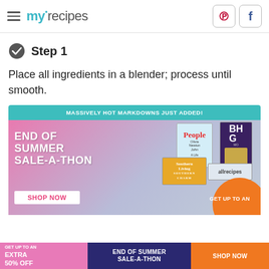myrecipes
Step 1
Place all ingredients in a blender; process until smooth.
[Figure (infographic): Magazine subscription advertisement: 'MASSIVELY HOT MARKDOWNS JUST ADDED!' with 'END OF SUMMER SALE-A-THON' text, magazine covers (People, BHG, Southern Living, allrecipes), SHOP NOW button, and GET UP TO AN label at bottom right.]
[Figure (infographic): Bottom banner ad: GET UP TO AN EXTRA 50% OFF | END OF SUMMER SALE-A-THON | SHOP NOW]